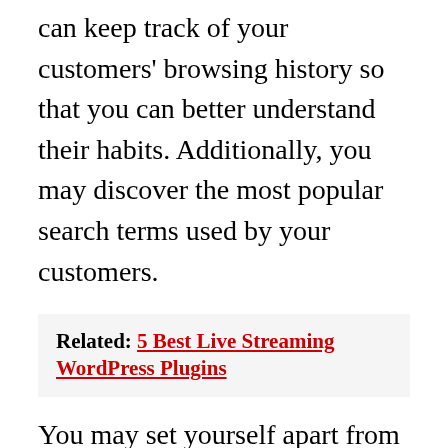can keep track of your customers' browsing history so that you can better understand their habits. Additionally, you may discover the most popular search terms used by your customers.
Related:  5 Best Live Streaming WordPress Plugins
You may set yourself apart from your competitors by keeping up with the latest market trends. Additionally, you can increase the amount of that item in stock. Using this data, you can also learn about